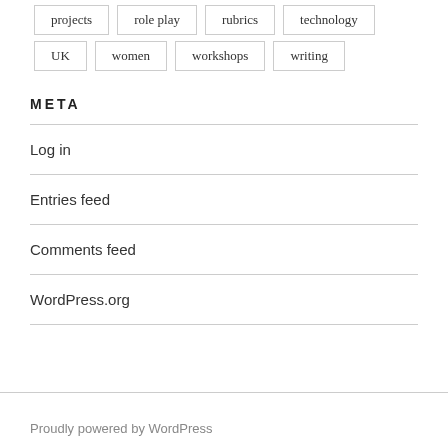projects
role play
rubrics
technology
UK
women
workshops
writing
META
Log in
Entries feed
Comments feed
WordPress.org
Proudly powered by WordPress